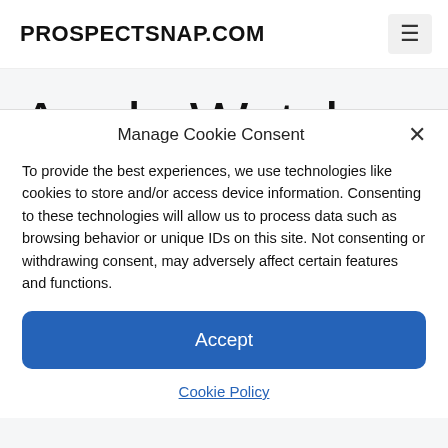PROSPECTSNAP.COM
Apple Watch
Manage Cookie Consent
To provide the best experiences, we use technologies like cookies to store and/or access device information. Consenting to these technologies will allow us to process data such as browsing behavior or unique IDs on this site. Not consenting or withdrawing consent, may adversely affect certain features and functions.
Accept
Cookie Policy